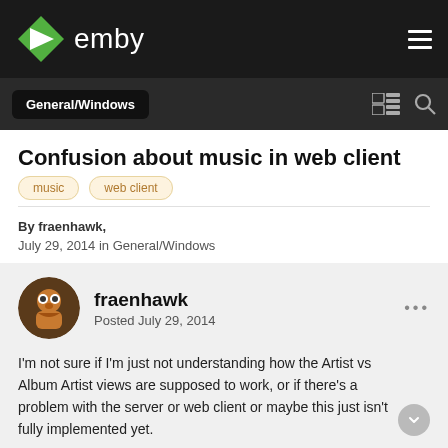emby
General/Windows
Confusion about music in web client
music
web client
By fraenhawk,
July 29, 2014 in General/Windows
fraenhawk
Posted July 29, 2014
I'm not sure if I'm just not understanding how the Artist vs Album Artist views are supposed to work, or if there's a problem with the server or web client or maybe this just isn't fully implemented yet.